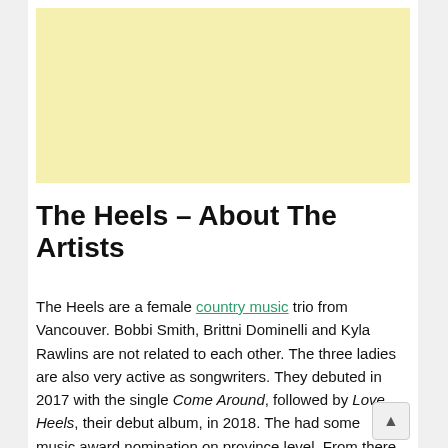[Figure (other): Yellow advertisement banner placeholder]
The Heels – About The Artists
The Heels are a female country music trio from Vancouver. Bobbi Smith, Brittni Dominelli and Kyla Rawlins are not related to each other. The three ladies are also very active as songwriters. They debuted in 2017 with the single Come Around, followed by Love, Heels, their debut album, in 2018. The had some music award nomination on province level. From there on, they developed on their career. As their second album features quite a long time span of releases, some of the tracks have already received some merits, e.g. music awards. The signature element of their music are undoubtedly their three voice harmonic vocals.